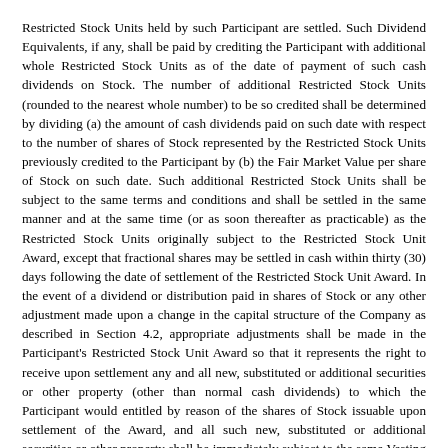Restricted Stock Units held by such Participant are settled. Such Dividend Equivalents, if any, shall be paid by crediting the Participant with additional whole Restricted Stock Units as of the date of payment of such cash dividends on Stock. The number of additional Restricted Stock Units (rounded to the nearest whole number) to be so credited shall be determined by dividing (a) the amount of cash dividends paid on such date with respect to the number of shares of Stock represented by the Restricted Stock Units previously credited to the Participant by (b) the Fair Market Value per share of Stock on such date. Such additional Restricted Stock Units shall be subject to the same terms and conditions and shall be settled in the same manner and at the same time (or as soon thereafter as practicable) as the Restricted Stock Units originally subject to the Restricted Stock Unit Award, except that fractional shares may be settled in cash within thirty (30) days following the date of settlement of the Restricted Stock Unit Award. In the event of a dividend or distribution paid in shares of Stock or any other adjustment made upon a change in the capital structure of the Company as described in Section 4.2, appropriate adjustments shall be made in the Participant's Restricted Stock Unit Award so that it represents the right to receive upon settlement any and all new, substituted or additional securities or other property (other than normal cash dividends) to which the Participant would entitled by reason of the shares of Stock issuable upon settlement of the Award, and all such new, substituted or additional securities or other property shall be immediately subject to the same Vesting Conditions as are applicable to the Award.
10.4 Effect of Termination of Service. Unless otherwise provided by the Committee in the grant of a Restricted Stock Unit Award and set forth in the